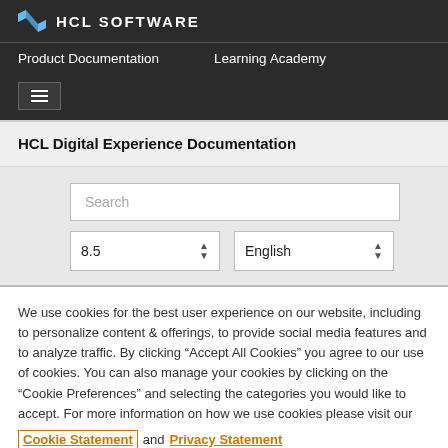HCL SOFTWARE
Product Documentation   Learning Academy
HCL Digital Experience Documentation
[Figure (screenshot): Search input box with placeholder text 'Search', a version selector showing '8.5', and a language selector showing 'English']
We use cookies for the best user experience on our website, including to personalize content & offerings, to provide social media features and to analyze traffic. By clicking "Accept All Cookies" you agree to our use of cookies. You can also manage your cookies by clicking on the "Cookie Preferences" and selecting the categories you would like to accept. For more information on how we use cookies please visit our Cookie Statement and Privacy Statement